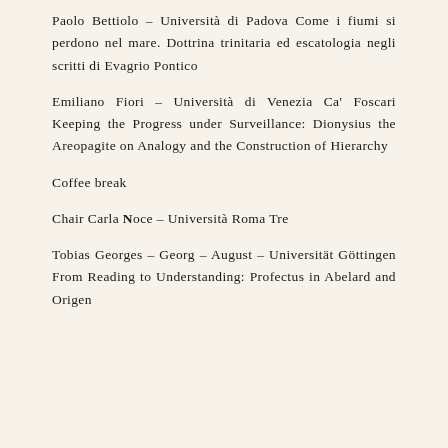Paolo Bettiolo – Università di Padova Come i fiumi si perdono nel mare. Dottrina trinitaria ed escatologia negli scritti di Evagrio Pontico
Emiliano Fiori – Università di Venezia Ca' Foscari Keeping the Progress under Surveillance: Dionysius the Areopagite on Analogy and the Construction of Hierarchy
Coffee break
Chair Carla Noce – Università Roma Tre
Tobias Georges – Georg – August – Universität Göttingen From Reading to Understanding: Profectus in Abelard and Origen